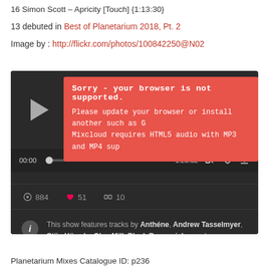16 Simon Scott – Apricity [Touch] {1:13:30}
13 debuted in Best of Planetarium 2018, Pt. 2
Image by : http://flickr.com/photos/100842250@N02
[Figure (screenshot): Mixcloud audio player widget with dark background showing a play button, error overlay message 'Sorry - your browser is not supported. Please update your browser or install another such as G... Mixcloud requires HTML5 audio with MP3 and MP4 sup...', progress bar showing 00:00 and -1:20:32, stats showing 884 listens, 51 favorites, 10 reposts, and info text listing featured artists: Anthéne, Andrew Tasselmyer, Stijn Hüwels, Olan Mill, Black Brunswicker and more.]
Planetarium Mixes Catalogue ID: p236